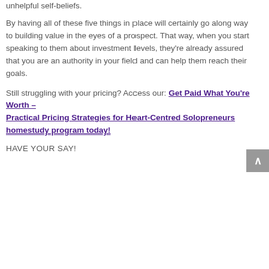unhelpful self-beliefs.
By having all of these five things in place will certainly go along way to building value in the eyes of a prospect. That way, when you start speaking to them about investment levels, they're already assured that you are an authority in your field and can help them reach their goals.
Still struggling with your pricing? Access our: Get Paid What You're Worth – Practical Pricing Strategies for Heart-Centred Solopreneurs homestudy program today!
HAVE YOUR SAY!